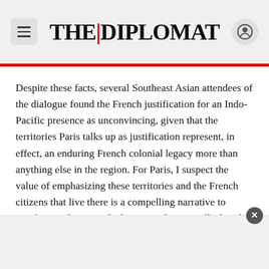THE DIPLOMAT
Despite these facts, several Southeast Asian attendees of the dialogue found the French justification for an Indo-Pacific presence as unconvincing, given that the territories Paris talks up as justification represent, in effect, an enduring French colonial legacy more than anything else in the region. For Paris, I suspect the value of emphasizing these territories and the French citizens that live there is a compelling narrative to justify expeditionary deployments domestically, but this perception in Asia is worth underscoring.